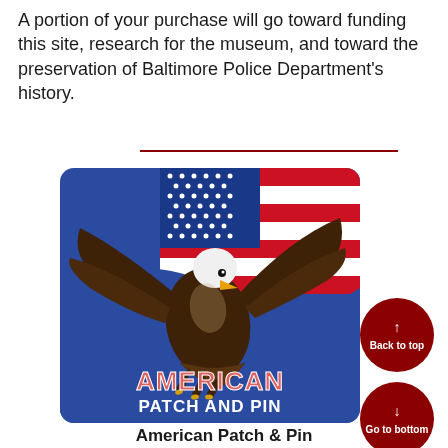A portion of your purchase will go toward funding this site, research for the museum, and toward the preservation of Baltimore Police Department's history.
[Figure (illustration): American Patch and Pin product image showing a bald eagle with wings spread over an American flag background with text 'AMERICAN PATCH AND PIN' at the bottom]
American Patch & Pin